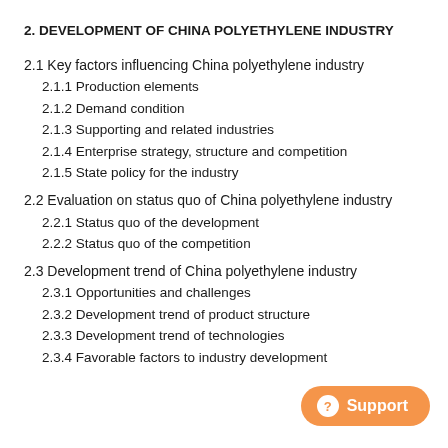2. DEVELOPMENT OF CHINA POLYETHYLENE INDUSTRY
2.1 Key factors influencing China polyethylene industry
2.1.1 Production elements
2.1.2 Demand condition
2.1.3 Supporting and related industries
2.1.4 Enterprise strategy, structure and competition
2.1.5 State policy for the industry
2.2 Evaluation on status quo of China polyethylene industry
2.2.1 Status quo of the development
2.2.2 Status quo of the competition
2.3 Development trend of China polyethylene industry
2.3.1 Opportunities and challenges
2.3.2 Development trend of product structure
2.3.3 Development trend of technologies
2.3.4 Favorable factors to industry development